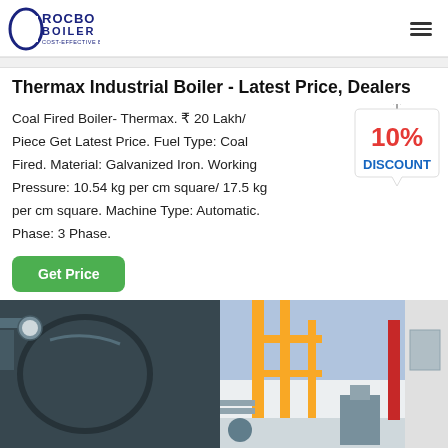[Figure (logo): Rocbo Boiler logo with tagline 'Cost-Effective Boiler Supplier']
Thermax Industrial Boiler - Latest Price, Dealers
Coal Fired Boiler- Thermax. ₹ 20 Lakh/ Piece Get Latest Price. Fuel Type: Coal Fired. Material: Galvanized Iron. Working Pressure: 10.54 kg per cm square/ 17.5 kg per cm square. Machine Type: Automatic. Phase: 3 Phase.
[Figure (illustration): 10% Discount badge/tag illustration]
[Figure (photo): Industrial boiler equipment photo showing dark cylindrical boiler on left and industrial piping/facility on right]